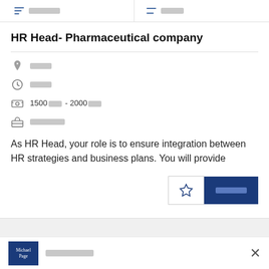[filter bar with redacted text]
HR Head- Pharmaceutical company
[location redacted]
[time/type redacted]
1500[redacted] - 2000[redacted]
[industry redacted]
As HR Head, your role is to ensure integration between HR strategies and business plans. You will provide
Michael Page [redacted]